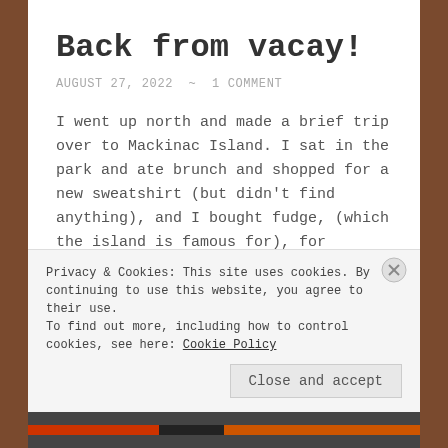Back from vacay!
AUGUST 27, 2022  ~  1 COMMENT
I went up north and made a brief trip over to Mackinac Island. I sat in the park and ate brunch and shopped for a new sweatshirt (but didn't find anything), and I bought fudge, (which the island is famous for), for friends and family. I also just had a lovely time with my cousin's … Continue reading
Privacy & Cookies: This site uses cookies. By continuing to use this website, you agree to their use.
To find out more, including how to control cookies, see here: Cookie Policy
Close and accept